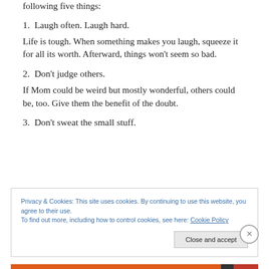following five things:
1.  Laugh often. Laugh hard.
Life is tough. When something makes you laugh, squeeze it for all its worth. Afterward, things won't seem so bad.
2.  Don't judge others.
If Mom could be weird but mostly wonderful, others could be, too. Give them the benefit of the doubt.
3.  Don't sweat the small stuff.
Privacy & Cookies: This site uses cookies. By continuing to use this website, you agree to their use.
To find out more, including how to control cookies, see here: Cookie Policy